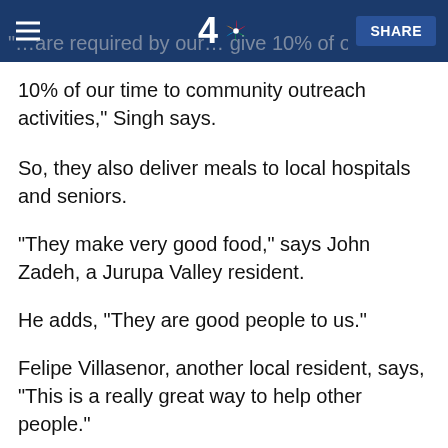NBC 4 news navigation bar with menu, logo, and SHARE button
10% of our time to community outreach activities," Singh says.
So, they also deliver meals to local hospitals and seniors.
"They make very good food," says John Zadeh, a Jurupa Valley resident.
He adds, "They are good people to us."
Felipe Villasenor, another local resident, says, "This is a really great way to help other people."
Like so many others, Villasenor is out of work right now. He has a wife and 3-year-old son, and he says these free meals